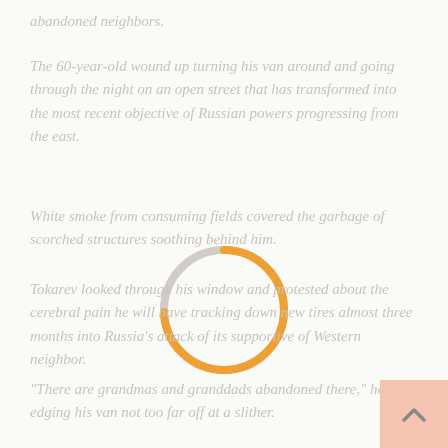abandoned neighbors.
The 60-year-old wound up turning his van around and going through the night on an open street that has transformed into the most recent objective of Russian powers progressing from the east.
White smoke from consuming fields covered the garbage of scorched structures soothing behind him.
[Figure (other): Loading spinner circle, mostly orange with a small grey arc at the top right]
Tokarev looked through his window and protested about the cerebral pain he will have tracking down new tires almost three months into Russia's attack of its supportive of Western neighbor.
“There are grandmas and granddads abandoned there,” he said, edging his van not too far off at a slither.
[Figure (other): Back to top button with upward arrow chevron icon on salmon/peach background]